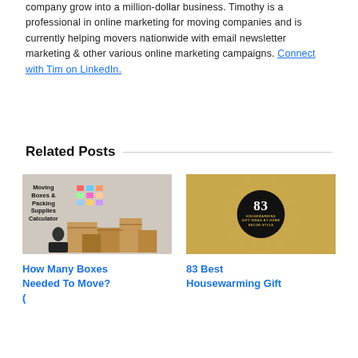company grow into a million-dollar business. Timothy is a professional in online marketing for moving companies and is currently helping movers nationwide with email newsletter marketing & other various online marketing campaigns. Connect with Tim on LinkedIn.
Related Posts
[Figure (photo): Moving boxes and packing supplies calculator – boxes stacked in a room with a calculator graphic overlay]
How Many Boxes Needed To Move? (
[Figure (illustration): 83 Housewarming Gift Ideas by Home Decor Style – dark circular badge with golden sunburst rays on black background]
83 Best Housewarming Gift